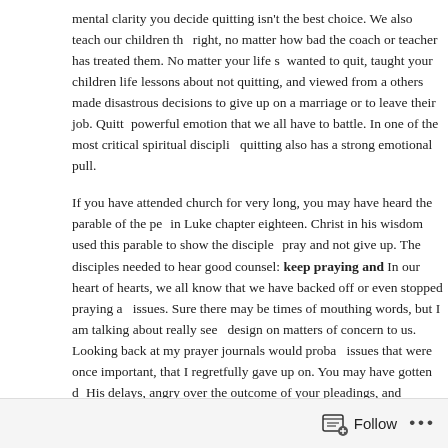mental clarity you decide quitting isn't the best choice. We also teach our children that quitting isn't right, no matter how bad the coach or teacher has treated them. No matter your life story, you have wanted to quit, taught your children life lessons about not quitting, and viewed from a distance as others made disastrous decisions to give up on a marriage or to leave their job. Quitting is a powerful emotion that we all have to battle. In one of the most critical spiritual disciplines, quitting also has a strong emotional pull.
If you have attended church for very long, you may have heard the parable of the persistent widow in Luke chapter eighteen. Christ in his wisdom used this parable to show the disciples they should pray and not give up. The disciples needed to hear good counsel: keep praying and don't give up. In our heart of hearts, we all know that we have backed off or even stopped praying about certain issues. Sure there may be times of mouthing words, but I am talking about really seeking God's design on matters of concern to us. Looking back at my prayer journals would probably reveal issues that were once important, that I regretfully gave up on. You may have gotten discouraged by His delays, angry over the outcome of your pleadings, and disillusioned that you prayed fervently, nothing seemed to happen. He understands our struggle, and gives us great counsel: keep praying and don't give up.
Christ's parable about the persistent widow gives us incredible insight about never, ever quitting. The unjust judge that she confronted was finally bothered to the point of giving in to her. We don't compare the judge to our Lord, because the context gives us a completely different picture. The parable uses the widow's tenacity with an unjust judge as a great analogy of persistence in prayer. The widow was battling an adversary, and pleading with an unjust judge. Our Father certainly cares about our battles, and it is anything but unjust. Nevertheless, Christians become easily discouraged and don't follow the great counsel, keep praying and never give up. In studying the following this parable, I am challenged and convicted.
Follow ···